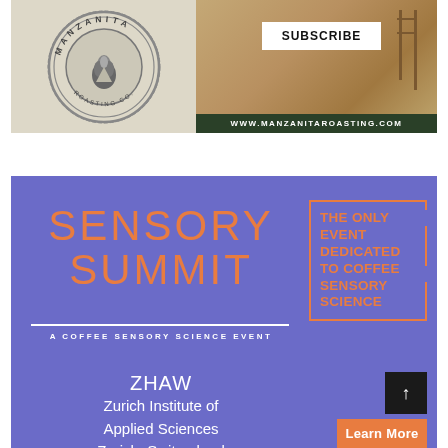[Figure (logo): Manzanita Roasting Company circular badge logo with flame icon, with Subscribe button and website URL www.manzanitaroasting.com]
[Figure (infographic): Sensory Summit - A Coffee Sensory Science Event advertisement on purple background. THE ONLY EVENT DEDICATED TO COFFEE SENSORY SCIENCE. ZHAW Zurich Institute of Applied Sciences, Zurich, Switzerland. Learn More button.]